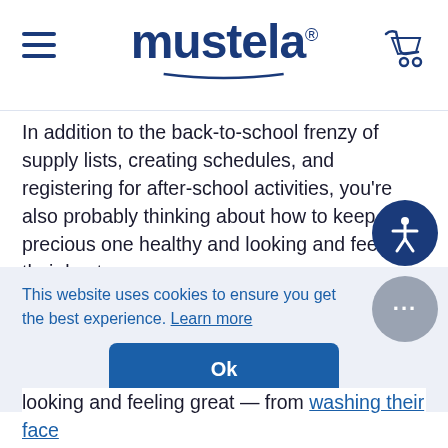Mustela
In addition to the back-to-school frenzy of supply lists, creating schedules, and registering for after-school activities, you're also probably thinking about how to keep your precious one healthy and looking and feeling their best.
Here at Mustela, we've got the same thing in mind. In this article, we'll tell you six ways to keep your child in tip-top shape to go back to school.
This website uses cookies to ensure you get the best experience. Learn more
looking and feeling great — from washing their face